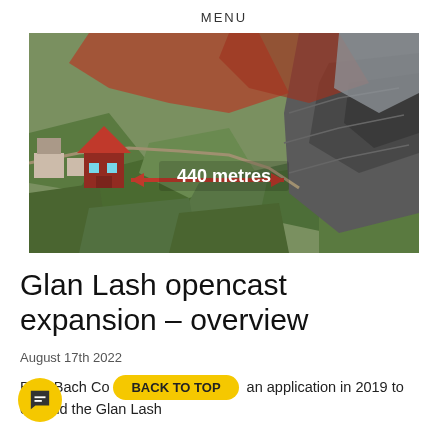MENU
[Figure (photo): Aerial satellite view of Glan Lash opencast mine site with a red house icon on the left and a double-headed arrow labelled '440 metres' pointing toward the quarry on the right. Red-shaded areas indicate the expansion zone.]
Glan Lash opencast expansion – overview
August 17th 2022
Bryn Bach Co[mmunity Council submitted] an application in 2019 to expand the Glan Lash